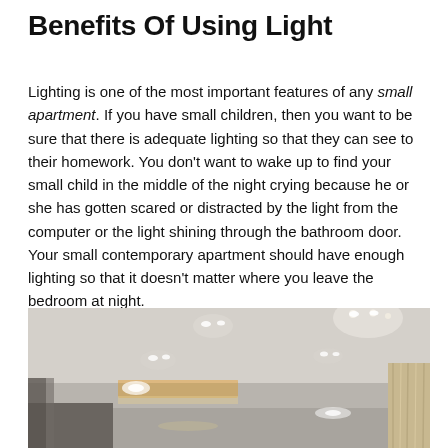Benefits Of Using Light
Lighting is one of the most important features of any small apartment. If you have small children, then you want to be sure that there is adequate lighting so that they can see to their homework. You don't want to wake up to find your small child in the middle of the night crying because he or she has gotten scared or distracted by the light from the computer or the light shining through the bathroom door. Your small contemporary apartment should have enough lighting so that it doesn't matter where you leave the bedroom at night.
[Figure (photo): Interior photo of a modern apartment ceiling with recessed lighting fixtures; below is a contemporary living space with wooden elements and curtains visible.]